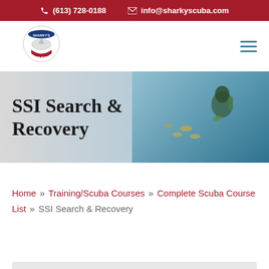(613) 728-0188  info@sharkyscuba.com
[Figure (logo): Sharky's Scuba Supply logo with shark illustration]
SSI Search & Recovery
Home » Training/Scuba Courses » Complete Scuba Course List » SSI Search & Recovery